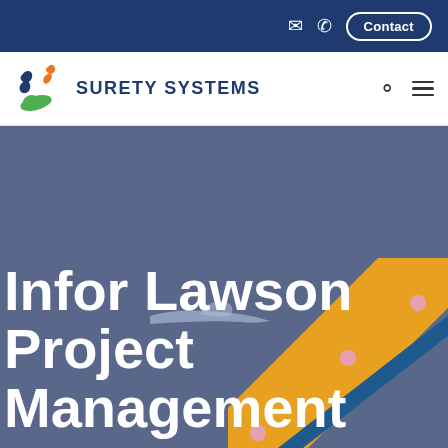Contact
[Figure (logo): Surety Systems logo with stylized figures in orange, green, and blue]
Infor Lawson Project Management